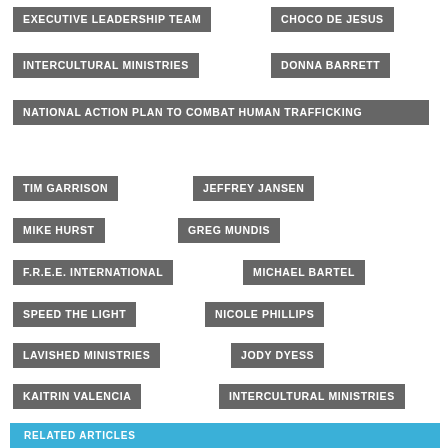EXECUTIVE LEADERSHIP TEAM
CHOCO DE JESUS
INTERCULTURAL MINISTRIES
DONNA BARRETT
NATIONAL ACTION PLAN TO COMBAT HUMAN TRAFFICKING
TIM GARRISON
JEFFREY JANSEN
MIKE HURST
GREG MUNDIS
F.R.E.E. INTERNATIONAL
MICHAEL BARTEL
SPEED THE LIGHT
NICOLE PHILLIPS
LAVISHED MINISTRIES
JODY DYESS
KAITRIN VALENCIA
INTERCULTURAL MINISTRIES
RELATED ARTICLES